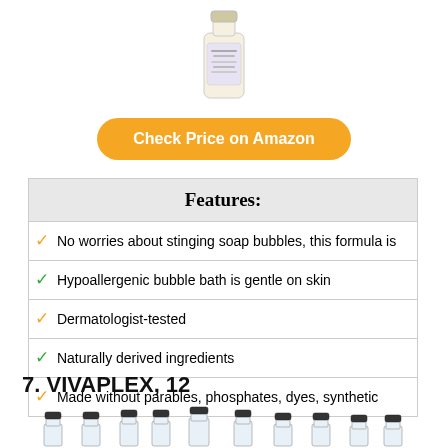[Figure (photo): Product photo of a bubble bath bottle with label, shown at top center of page]
Check Price on Amazon
| Features: |
| --- |
| No worries about stinging soap bubbles, this formula is |
| Hypoallergenic bubble bath is gentle on skin |
| Dermatologist-tested |
| Naturally derived ingredients |
| Made without parables, phosphates, dyes, synthetic |
7. VIVAPLEX, 12
[Figure (photo): Row of small glass bottles with black caps, shown at bottom of page]